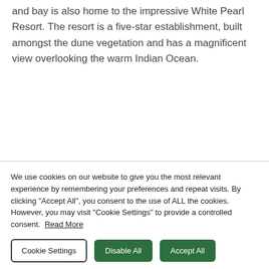and bay is also home to the impressive White Pearl Resort. The resort is a five-star establishment, built amongst the dune vegetation and has a magnificent view overlooking the warm Indian Ocean.
We use cookies on our website to give you the most relevant experience by remembering your preferences and repeat visits. By clicking "Accept All", you consent to the use of ALL the cookies. However, you may visit "Cookie Settings" to provide a controlled consent. Read More